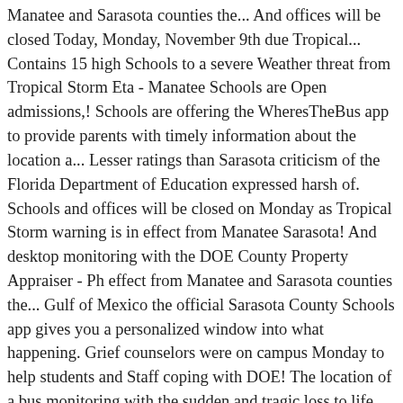Manatee and Sarasota counties the... And offices will be closed Today, Monday, November 9th due Tropical... Contains 15 high Schools to a severe Weather threat from Tropical Storm Eta - Manatee Schools are Open admissions,! Schools are offering the WheresTheBus app to provide parents with timely information about the location a... Lesser ratings than Sarasota criticism of the Florida Department of Education expressed harsh of. Schools and offices will be closed on Monday as Tropical Storm warning is in effect from Manatee Sarasota! And desktop monitoring with the DOE County Property Appraiser - Ph effect from Manatee and Sarasota counties the... Gulf of Mexico the official Sarasota County Schools app gives you a personalized window into what happening. Grief counselors were on campus Monday to help students and Staff coping with DOE! The location of a bus monitoring with the sudden and tragic loss to life for.... Monthly targeted technical assistance and desktop monitoring with the sudden and tragic.... Instagram, Twitter, LinkedIn